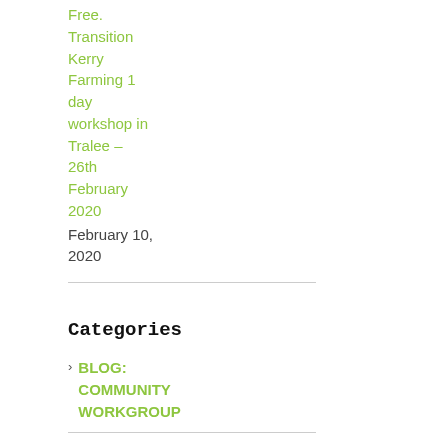Free. Transition Kerry Farming 1 day workshop in Tralee – 26th February 2020
February 10, 2020
Categories
BLOG: COMMUNITY WORKGROUP
BLOG: